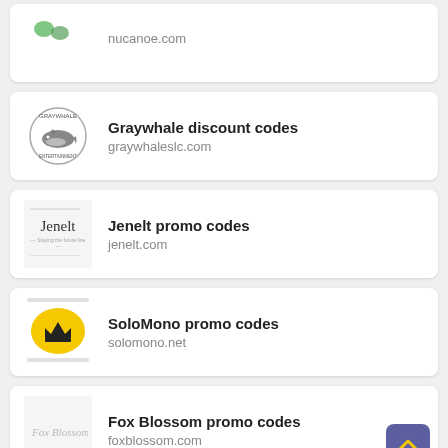nucanoe.com
Graywhale discount codes
graywhaleslc.com
Jenelt promo codes
jenelt.com
SoloMono promo codes
solomono.net
Fox Blossom promo codes
foxblossom.com